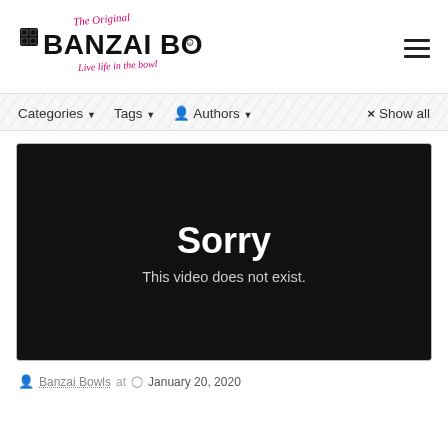The Original Banzai Bowls — Live life in the bowl
Categories ▾  Tags ▾  Authors ▾  × Show all
[Figure (screenshot): Black video player with white text showing 'Sorry' and 'This video does not exist.']
Banzai Bowls at  January 20, 2020